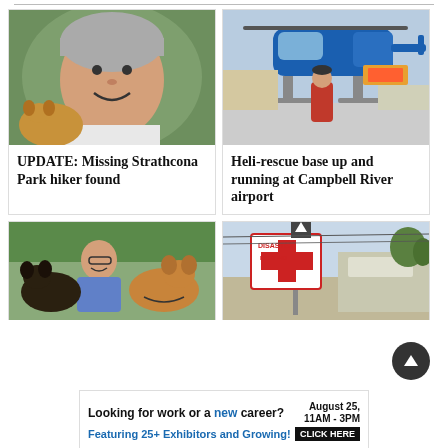[Figure (photo): Young man smiling, wearing a grey beanie, holding a dog, with greenery in background]
UPDATE: Missing Strathcona Park hiker found
[Figure (photo): Man in red jacket standing next to a blue helicopter at an airport, with rescue equipment visible]
Heli-rescue base up and running at Campbell River airport
[Figure (photo): Woman smiling with two dogs (a Rottweiler mix and a Golden Retriever) outdoors]
[Figure (photo): Street view showing a Disaster First Aid sign and a medical clinic building]
Looking for work or a new career? August 25, 11AM - 3PM Featuring 25+ Exhibitors and Growing! CLICK HERE